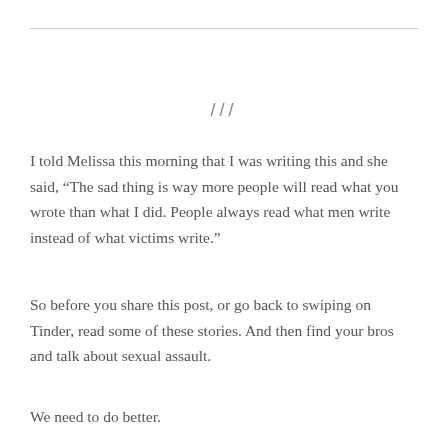///
I told Melissa this morning that I was writing this and she said, “The sad thing is way more people will read what you wrote than what I did. People always read what men write instead of what victims write.”
So before you share this post, or go back to swiping on Tinder, read some of these stories. And then find your bros and talk about sexual assault.
We need to do better.